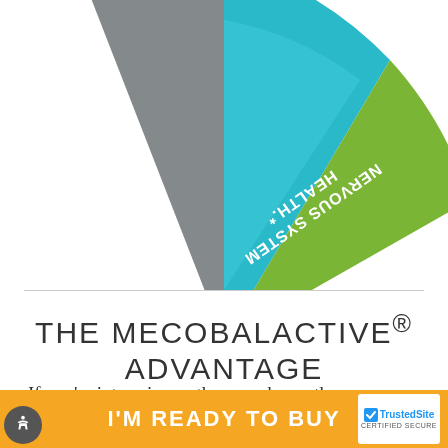[Figure (infographic): Partial pie/donut-style diagram showing colored segments. Visible segments: gray (left), teal/cyan center segment labeled 'NERVOUS SYSTEM HEALTH.' (text upside-down/rotated), and green (right, partially cut off with letters 'TH' and 'E' visible rotated). The chart is cropped at the top of the page.]
THE MECOBALACTIVE® ADVANTAGE
If you're into science, then you know there are a few different forms of Vitamin B12 — some of which are
I'M READY TO BUY